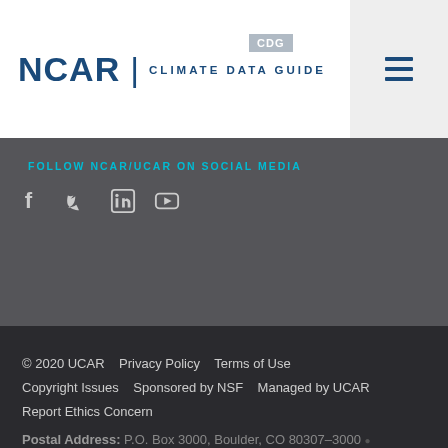NCAR | CLIMATE DATA GUIDE CDG
FOLLOW NCAR/UCAR ON SOCIAL MEDIA
[Figure (other): Social media icons: Facebook, Twitter, LinkedIn, YouTube]
© 2020 UCAR    Privacy Policy    Terms of Use    Copyright Issues    Sponsored by NSF    Managed by UCAR    Report Ethics Concern    Postal Address: P.O. Box 3000, Boulder, CO 80307-3000    Shipping Address: 3090 Center Green Drive, Boulder, CO 80301